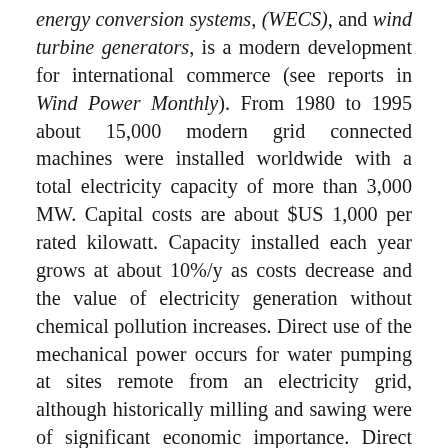energy conversion systems, (WECS), and wind turbine generators, is a modern development for international commerce (see reports in Wind Power Monthly). From 1980 to 1995 about 15,000 modern grid connected machines were installed worldwide with a total electricity capacity of more than 3,000 MW. Capital costs are about $US 1,000 per rated kilowatt. Capacity installed each year grows at about 10%/y as costs decrease and the value of electricity generation without chemical pollution increases. Direct use of the mechanical power occurs for water pumping at sites remote from an electricity grid, although historically milling and sawing were of significant economic importance. Direct "Joule heating" by dissipating mechanical power in friction has not been accepted.